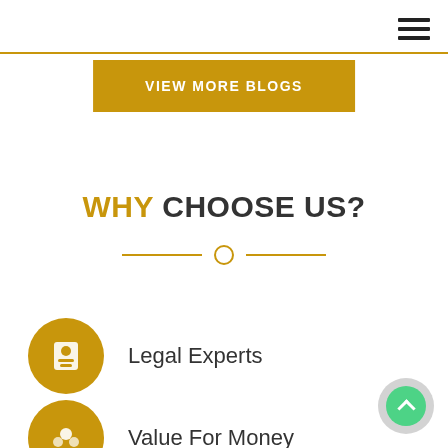[Figure (other): Hamburger menu icon (three horizontal bars) in top right corner]
[Figure (other): Gold horizontal rule divider line across full width]
VIEW MORE BLOGS
WHY CHOOSE US?
[Figure (other): Decorative gold divider: two short lines flanking an open circle]
Legal Experts
Value For Money
[Figure (other): Scroll-to-top button, grey circle with green inner circle and white arrow]